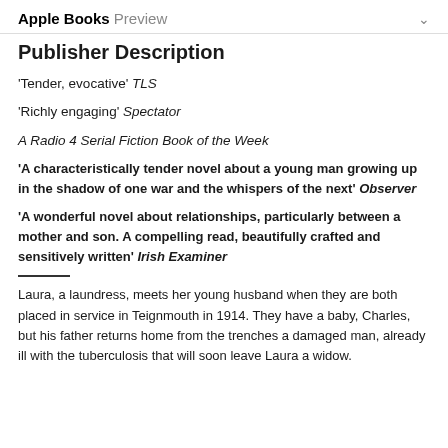Apple Books Preview
Publisher Description
'Tender, evocative' TLS
'Richly engaging' Spectator
A Radio 4 Serial Fiction Book of the Week
'A characteristically tender novel about a young man growing up in the shadow of one war and the whispers of the next' Observer
'A wonderful novel about relationships, particularly between a mother and son. A compelling read, beautifully crafted and sensitively written' Irish Examiner
Laura, a laundress, meets her young husband when they are both placed in service in Teignmouth in 1914. They have a baby, Charles, but his father returns home from the trenches a damaged man, already ill with the tuberculosis that will soon leave Laura a widow.